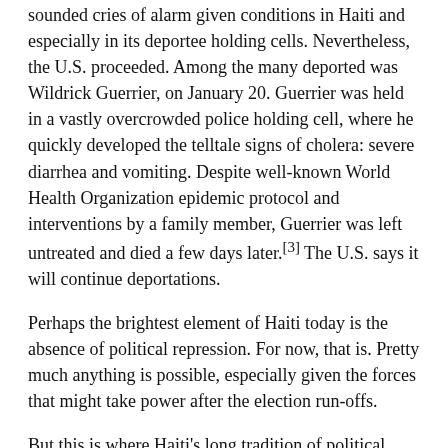sounded cries of alarm given conditions in Haiti and especially in its deportee holding cells. Nevertheless, the U.S. proceeded. Among the many deported was Wildrick Guerrier, on January 20. Guerrier was held in a vastly overcrowded police holding cell, where he quickly developed the telltale signs of cholera: severe diarrhea and vomiting. Despite well-known World Health Organization epidemic protocol and interventions by a family member, Guerrier was left untreated and died a few days later.[3] The U.S. says it will continue deportations.
Perhaps the brightest element of Haiti today is the absence of political repression. For now, that is. Pretty much anything is possible, especially given the forces that might take power after the election run-offs.
But this is where Haiti's long tradition of political protest comes in handy. It's easy to forget, amidst all the media imagery of hungry, desperate earthquake survivors, that divisive leaders came to Haiti's history before the earthquake.